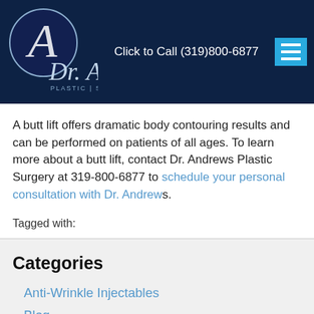Dr. Andrews Plastic Surgery — Click to Call (319)800-6877
A butt lift offers dramatic body contouring results and can be performed on patients of all ages. To learn more about a butt lift, contact Dr. Andrews Plastic Surgery at 319-800-6877 to schedule your personal consultation with Dr. Andrews.
Tagged with:
Categories
Anti-Wrinkle Injectables
Blog
Body